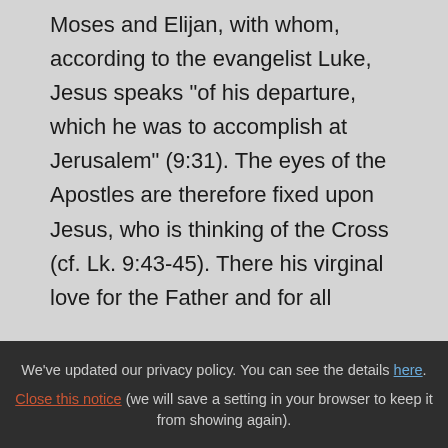Moses and Elijan, with whom, according to the evangelist Luke, Jesus speaks "of his departure, which he was to accomplish at Jerusalem" (9:31). The eyes of the Apostles are therefore fixed upon Jesus, who is thinking of the Cross (cf. Lk. 9:43-45). There his virginal love for the Father and for all mankind will attain its highest expression. His poverty will reach complete self-emptying, his obedience the giving of his life.
We've updated our privacy policy. You can see the details here. Close this notice (we will save a setting in your browser to keep it from showing again).